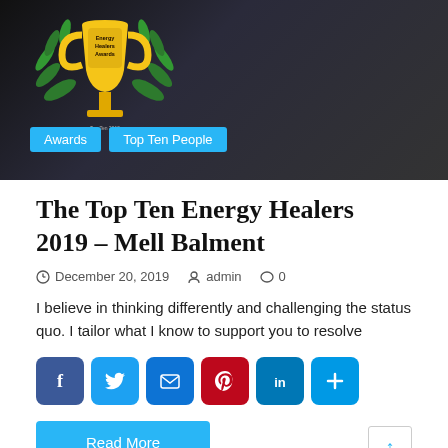[Figure (photo): Hero banner image showing a trophy award logo with 'Energy Healers Awards' and a person in dark background, with cyan category tags 'Awards' and 'Top Ten People']
The Top Ten Energy Healers 2019 – Mell Balment
December 20, 2019   admin   0
I believe in thinking differently and challenging the status quo. I tailor what I know to support you to resolve
[Figure (infographic): Social share buttons: Facebook, Twitter, Email, Pinterest, LinkedIn, More]
Read More